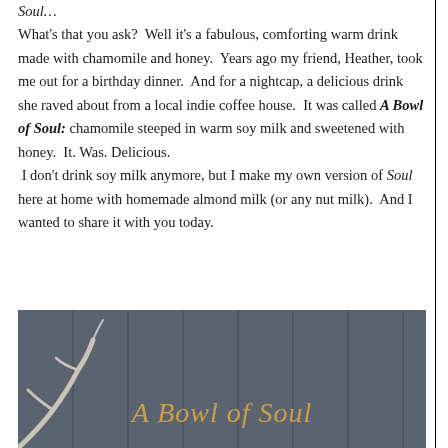Soul…
What's that you ask?  Well it's a fabulous, comforting warm drink made with chamomile and honey.  Years ago my friend, Heather, took me out for a birthday dinner.  And for a nightcap, a delicious drink she raved about from a local indie coffee house.  It was called A Bowl of Soul: chamomile steeped in warm soy milk and sweetened with honey.  It. Was. Delicious.  I don't drink soy milk anymore, but I make my own version of Soul  here at home with homemade almond milk (or any nut milk).  And I wanted to share it with you today.
[Figure (photo): Photo of a wooden fence/plank background in dark grey tones with a branch or twig in the lower left. Overlaid italic text reads 'A Bowl of Soul' in a golden/amber color.]